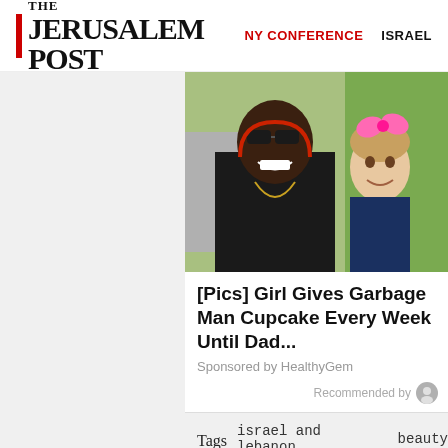THE JERUSALEM POST | NY CONFERENCE | ISRAEL
[Figure (photo): Photo of a smiling man with sunglasses and dreadlocks posing with a young girl wearing a pink bow]
[Pics] Girl Gives Garbage Man Cupcake Every Week Until Dad...
Sponsored by HealthyGem
Recommended by
Tags  israel and lebanon  beauty
Sign up for The Jeru